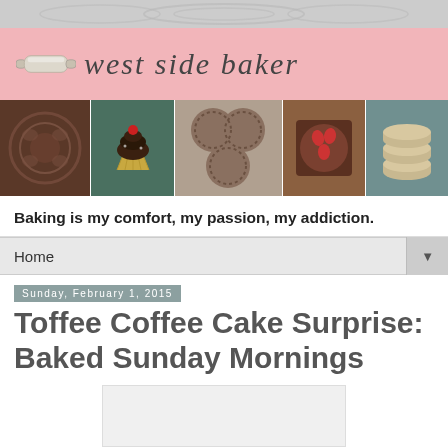[Figure (illustration): Light gray decorative background strip at top of page with swirl/scroll pattern]
[Figure (illustration): Pink header banner with rolling pin illustration and cursive blog title text 'west side baker']
[Figure (photo): Horizontal photo collage strip showing 5 baked goods images: decorative chocolate mold, cupcake with cherry, round cookies, chocolate tart with strawberries, and stacked macarons]
Baking is my comfort, my passion, my addiction.
Home ▼
Sunday, February 1, 2015
Toffee Coffee Cake Surprise: Baked Sunday Mornings
[Figure (photo): Partially visible photo placeholder/image of baked goods at bottom of page]